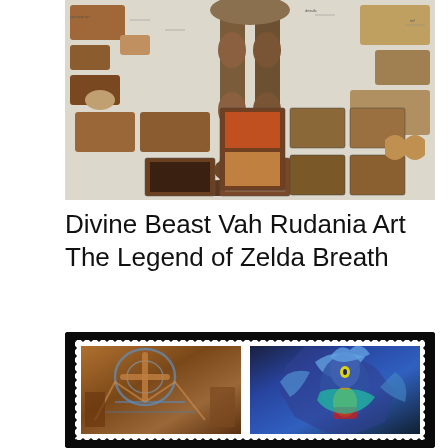[Figure (illustration): Concept art sheet for Divine Beast Vah Rudania from The Legend of Zelda: Breath of the Wild, showing multiple views of the mechanical beast and its interior rooms with annotated labels.]
Divine Beast Vah Rudania Art The Legend of Zelda Breath
[Figure (photo): A composite image in a stamp-style border showing two game screenshots: left image shows the mechanical interior/body of Divine Beast Vah Rudania (orange/brown mechanical creature), right image shows a character (likely Revali or a bird-like character) in blue and teal colors.]